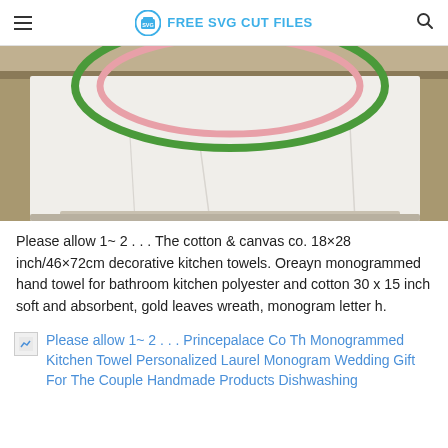FREE SVG CUT FILES
[Figure (photo): Photo of a white decorative kitchen towel hanging on a rack, showing the bottom portion with embroidered green and pink circular/wreath design, against a yellowish-tan background wall.]
Please allow 1~ 2 . . . The cotton & canvas co. 18×28 inch/46×72cm decorative kitchen towels. Oreayn monogrammed hand towel for bathroom kitchen polyester and cotton 30 x 15 inch soft and absorbent, gold leaves wreath, monogram letter h.
Please allow 1~ 2 . . . Princepalace Co Th Monogrammed Kitchen Towel Personalized Laurel Monogram Wedding Gift For The Couple Handmade Products Dishwashing